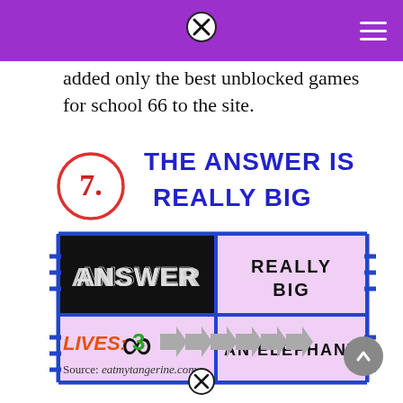added only the best unblocked games for school 66 to the site.
[Figure (screenshot): Game screenshot showing question 7 'THE ANSWER IS REALLY BIG' with four answer boxes: ANSWER (in black graffiti), REALLY BIG, infinity symbol, AN ELEPHANT. All in a purple/blue bordered grid layout.]
LIVES: 3 with arrow indicators
Source: eatmytangerine.com